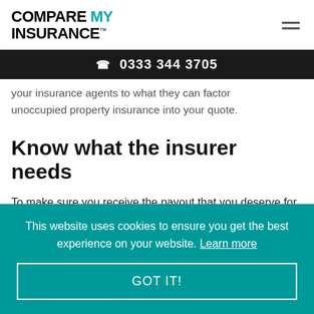COMPARE MY INSURANCE™
☎ 0333 344 3705
your insurance agents to what they can factor unoccupied property insurance into your quote.
Know what the insurer needs
To make sure you receive the payout that you deserve for claims, then it is vital that you comply with the stipulations that your insurer requires. There
This website uses cookies to ensure you get the best experience on your website. Learn more
GOT IT!